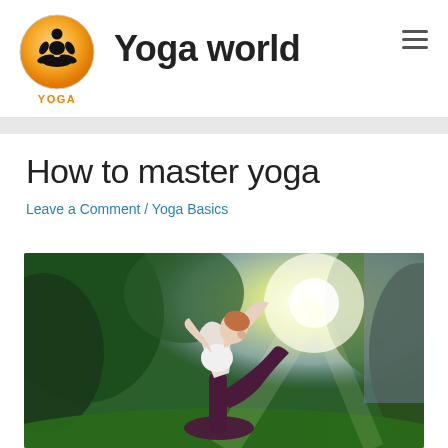[Figure (logo): Yoga World logo: orange circle with black silhouette of person in lotus meditation pose]
Yoga world
YOGA
How to master yoga
Leave a Comment / Yoga Basics
[Figure (photo): Woman performing a yoga backbend pose outdoors in a park with green trees and bright sunlight in the background]